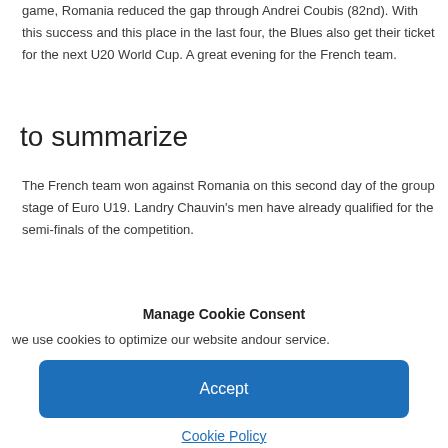game, Romania reduced the gap through Andrei Coubis (82nd). With this success and this place in the last four, the Blues also get their ticket for the next U20 World Cup. A great evening for the French team.
to summarize
The French team won against Romania on this second day of the group stage of Euro U19. Landry Chauvin’s men have already qualified for the semi-finals of the competition.
Manage Cookie Consent
we use cookies to optimize our website andour service.
Accept
Cookie Policy